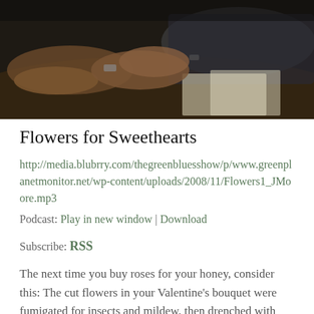[Figure (photo): Dark photograph showing hands of people around a table, with papers visible, low-light setting]
Flowers for Sweethearts
http://media.blubrry.com/thegreenbluesshow/p/www.greenplanetmonitor.net/wp-content/uploads/2008/11/Flowers1_JMoore.mp3
Podcast: Play in new window | Download
Subscribe: RSS
The next time you buy roses for your honey, consider this: The cut flowers in your Valentine’s bouquet were fumigated for insects and mildew, then drenched with preservatives for the long flight north.